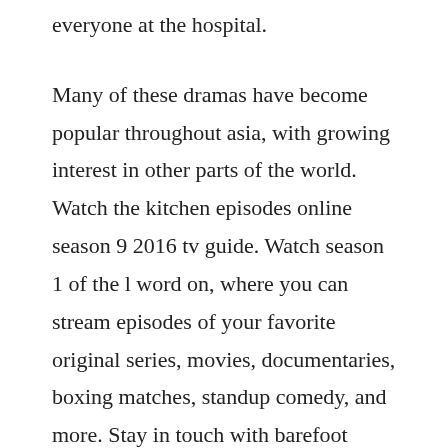everyone at the hospital.
Many of these dramas have become popular throughout asia, with growing interest in other parts of the world. Watch the kitchen episodes online season 9 2016 tv guide. Watch season 1 of the l word on, where you can stream episodes of your favorite original series, movies, documentaries, boxing matches, standup comedy, and more. Stay in touch with barefoot contessa next episode air date and your favorite tv s. Sidereel features links to all your favorite tv shows. On outlander season 4 episode 8, learn more finding how